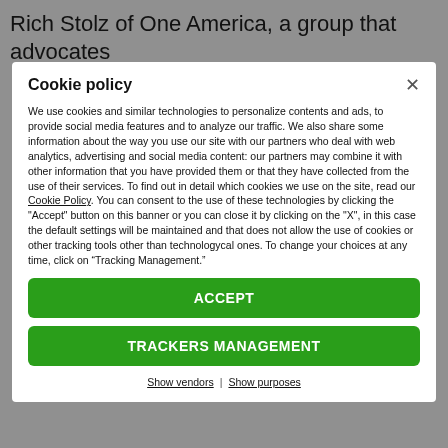Rich Stolz of One America, a group that advocates
Cookie policy
We use cookies and similar technologies to personalize contents and ads, to provide social media features and to analyze our traffic. We also share some information about the way you use our site with our partners who deal with web analytics, advertising and social media content: our partners may combine it with other information that you have provided them or that they have collected from the use of their services. To find out in detail which cookies we use on the site, read our Cookie Policy. You can consent to the use of these technologies by clicking the "Accept" button on this banner or you can close it by clicking on the "X", in this case the default settings will be maintained and that does not allow the use of cookies or other tracking tools other than technologycal ones. To change your choices at any time, click on “Tracking Management.”
ACCEPT
TRACKERS MANAGEMENT
Show vendors | Show purposes